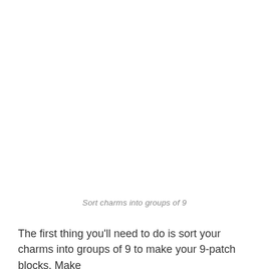Sort charms into groups of 9
The first thing you'll need to do is sort your charms into groups of 9 to make your 9-patch blocks. Make